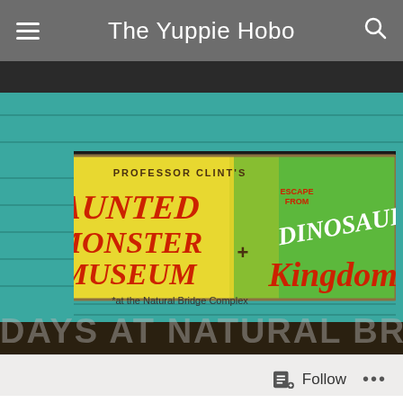The Yuppie Hobo
[Figure (photo): A colorful painted wooden sign leaning against a teal/turquoise wooden structure. Left half is yellow, right half is green. Sign reads: PROFESSOR CLINT'S HAUNTED MONSTER MUSEUM + ESCAPE FROM DINOSAUR Kingdom at the Natural Bridge Complex. Text is in red and white lettering.]
DAYS AT NATURAL BRIDGE
Follow